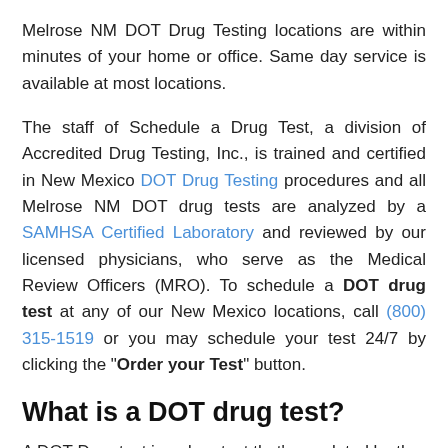Melrose NM DOT Drug Testing locations are within minutes of your home or office. Same day service is available at most locations.
The staff of Schedule a Drug Test, a division of Accredited Drug Testing, Inc., is trained and certified in New Mexico DOT Drug Testing procedures and all Melrose NM DOT drug tests are analyzed by a SAMHSA Certified Laboratory and reviewed by our licensed physicians, who serve as the Medical Review Officers (MRO). To schedule a DOT drug test at any of our New Mexico locations, call (800) 315-1519 or you may schedule your test 24/7 by clicking the "Order your Test" button.
What is a DOT drug test?
A DOT Drug test is a drug test that's regulated by the